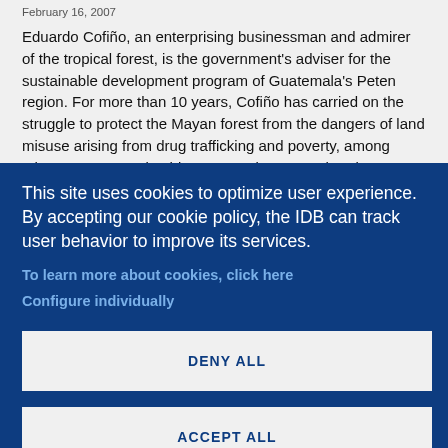February 16, 2007
Eduardo Cofiño, an enterprising businessman and admirer of the tropical forest, is the government's adviser for the sustainable development program of Guatemala's Peten region. For more than 10 years, Cofiño has carried on the struggle to protect the Mayan forest from the dangers of land misuse arising from drug trafficking and poverty, among other sources. During his presentation at IDB headquarters in Washington, DC, Cofiño laid
This site uses cookies to optimize user experience. By accepting our cookie policy, the IDB can track user behavior to improve its services.
To learn more about cookies, click here
Configure individually
DENY ALL
ACCEPT ALL